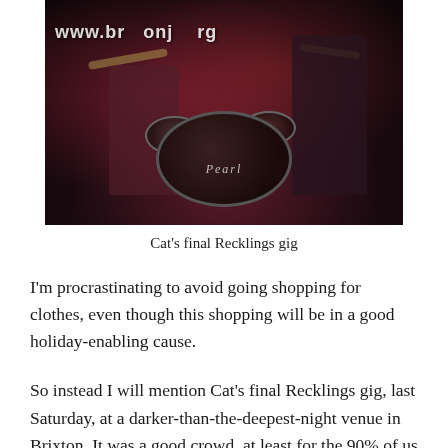[Figure (photo): Concert photo showing a drummer playing Pearl drums on a dark stage, with two figures visible and a website URL overlay reading www.br...onj...rg... at the top]
Cat's final Recklings gig
I'm procrastinating to avoid going shopping for clothes, even though this shopping will be in a good holiday-enabling cause.
So instead I will mention Cat's final Recklings gig, last Saturday, at a darker-than-the-deepest-night venue in Brixton. It was a good crowd, at least for the 90% of us who were there for them and immediately decamped to the pub afterwards for